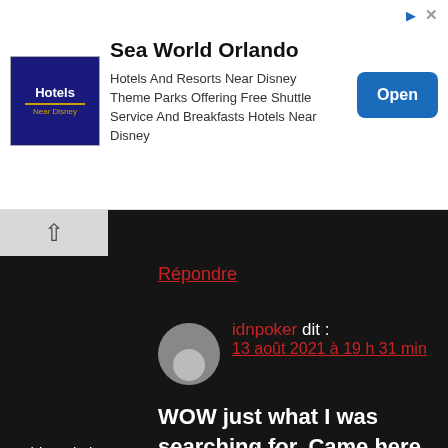[Figure (screenshot): Advertisement banner for Sea World Orlando / Hotels near Disney. Contains hotel logo icon (dark blue), title 'Sea World Orlando', description text, and blue 'Open' button.]
Répondre
idnpoker dit : 13 août 2021 à 19 h 31 min
WOW just what I was searching for. Came here
by searching for idn poker
This website uses cookies. By continuing to use this site, you accept our use of cookies.
Accepter